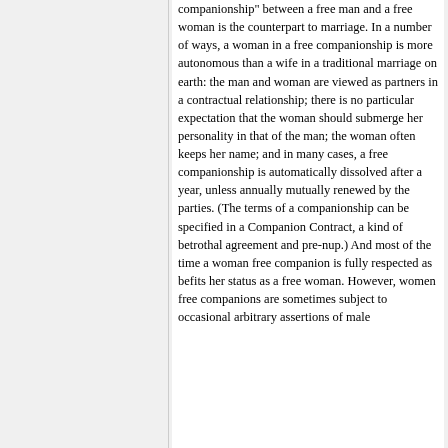companionship" between a free man and a free woman is the counterpart to marriage. In a number of ways, a woman in a free companionship is more autonomous than a wife in a traditional marriage on earth: the man and woman are viewed as partners in a contractual relationship; there is no particular expectation that the woman should submerge her personality in that of the man; the woman often keeps her name; and in many cases, a free companionship is automatically dissolved after a year, unless annually mutually renewed by the parties. (The terms of a companionship can be specified in a Companion Contract, a kind of betrothal agreement and pre-nup.) And most of the time a woman free companion is fully respected as befits her status as a free woman. However, women free companions are sometimes subject to occasional arbitrary assertions of male